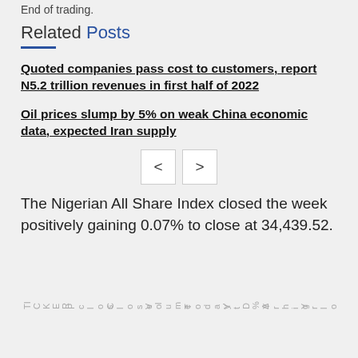End of trading.
Related Posts
Quoted companies pass cost to customers, report N5.2 trillion revenues in first half of 2022
Oil prices slump by 5% on weak China economic data, expected Iran supply
The Nigerian All Share Index closed the week positively gaining 0.07% to close at 34,439.52.
| TICKER | Pclose | Close | Volume | Today's | Yt D%Δ | Yr high | Yr low |
| --- | --- | --- | --- | --- | --- | --- | --- |